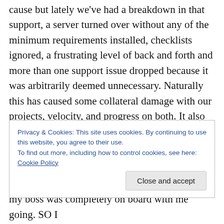cause but lately we've had a breakdown in that support, a server turned over without any of the minimum requirements installed, checklists ignored, a frustrating level of back and forth and more than one support issue dropped because it was arbitrarily deemed unnecessary. Naturally this has caused some collateral damage with our projects, velocity, and progress on both. It also has reminded me that it can be incredibly difficult to have compassion for the struggles of other groups when you're feeling that they aren't holding up their end.
With all of that, the subject of DevOps came up as a really
Privacy & Cookies: This site uses cookies. By continuing to use this website, you agree to their use.
To find out more, including how to control cookies, see here: Cookie Policy
my boss was completely on board with me going. SO I